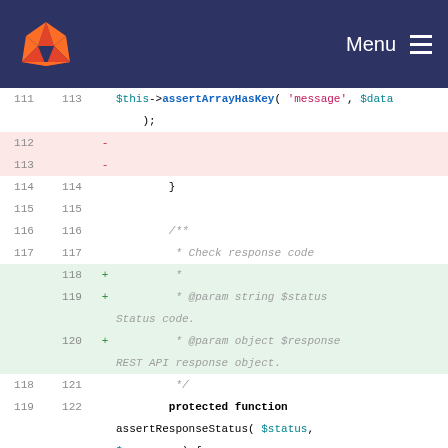GitLab Menu
[Figure (screenshot): GitLab code diff view showing PHP test file with line numbers and diff markers. Lines 111-123 visible showing assertArrayHasKey, assertResponseStatus, assertEquals methods with added/deleted lines highlighted.]